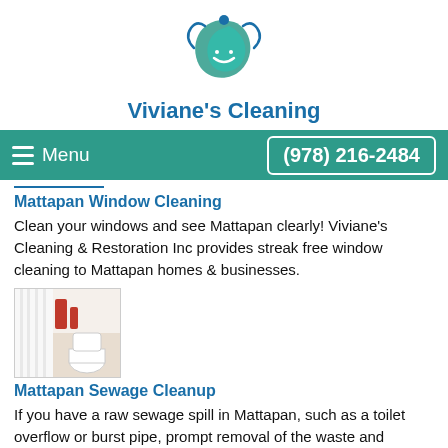[Figure (logo): Viviane's Cleaning logo — stylized blue/teal wave with leaf and water droplet]
Viviane's Cleaning
Menu   (978) 216-2484
Mattapan Window Cleaning
Clean your windows and see Mattapan clearly! Viviane's Cleaning & Restoration Inc provides streak free window cleaning to Mattapan homes & businesses.
[Figure (photo): Small thumbnail photo of a bathroom interior with toilet and shower curtain]
Mattapan Sewage Cleanup
If you have a raw sewage spill in Mattapan, such as a toilet overflow or burst pipe, prompt removal of the waste and decontamination of affected areas is essential. Call the cleaning professionals at Viviane's Cleaning & Restoration Inc for prompt service.